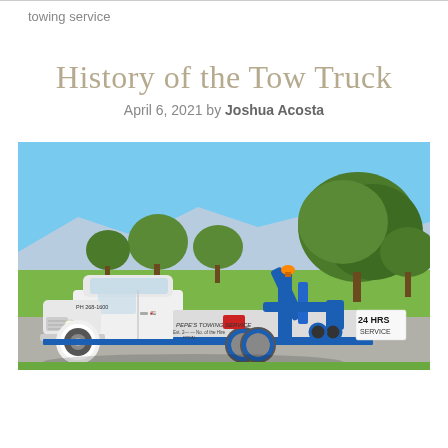towing service
History of the Tow Truck
April 6, 2021 by Joshua Acosta
[Figure (photo): A white vintage tow truck labeled 'Pepe's Towing Service' with blue towing equipment and '24 HRS SERVICE' text, photographed outdoors in a sunny park-like setting with trees and blue sky in the background.]